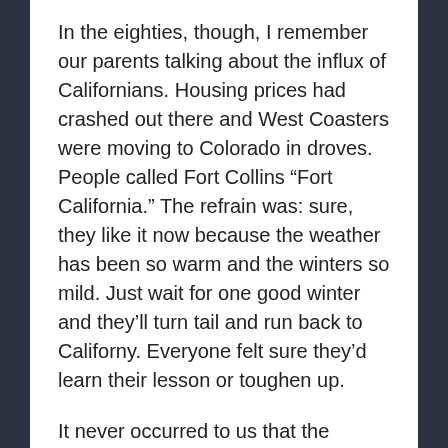In the eighties, though, I remember our parents talking about the influx of Californians. Housing prices had crashed out there and West Coasters were moving to Colorado in droves. People called Fort Collins “Fort California.” The refrain was: sure, they like it now because the weather has been so warm and the winters so mild. Just wait for one good winter and they’ll turn tail and run back to Californy. Everyone felt sure they’d learn their lesson or toughen up.
It never occurred to us that the reverse might happen, that we would learn their softness.
Denver no longer seems to plow through. There’s only one or two good snows in a winter anymore, so perhaps the city can afford the